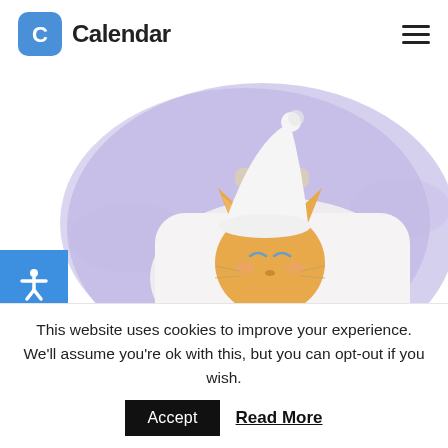Calendar
[Figure (illustration): Illustration of a cartoon cat in bed with a nightcap, lying on a pillow against a purple watercolor background, suggesting illness or rest.]
Getting sick is never fun. As a freelancer, it can
This website uses cookies to improve your experience. We'll assume you're ok with this, but you can opt-out if you wish.
Accept   Read More